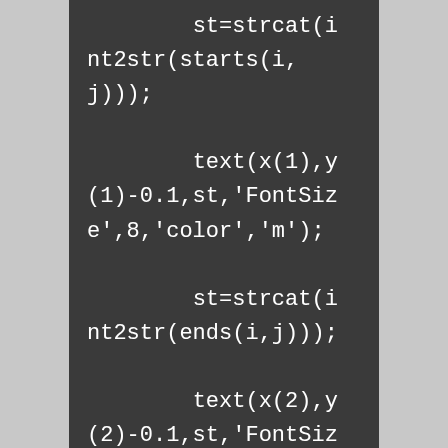st=strcat(int2str(starts(i,j)));
            text(x(1),y(1)-0.1,st,'FontSize',8,'color','m');
            st=strcat(int2str(ends(i,j)));
            text(x(2),y(2)-0.1,st,'FontSize',8,'color','m');